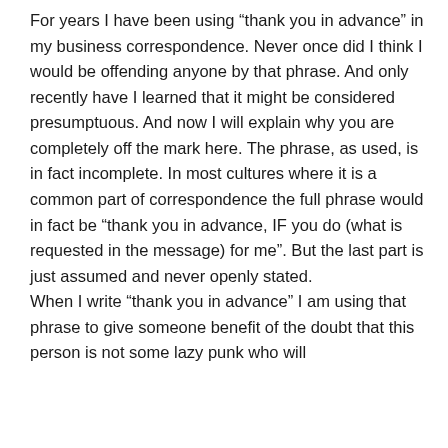For years I have been using “thank you in advance” in my business correspondence. Never once did I think I would be offending anyone by that phrase. And only recently have I learned that it might be considered presumptuous. And now I will explain why you are completely off the mark here. The phrase, as used, is in fact incomplete. In most cultures where it is a common part of correspondence the full phrase would in fact be “thank you in advance, IF you do (what is requested in the message) for me”. But the last part is just assumed and never openly stated.
When I write “thank you in advance” I am using that phrase to give someone benefit of the doubt that this person is not some lazy punk who will